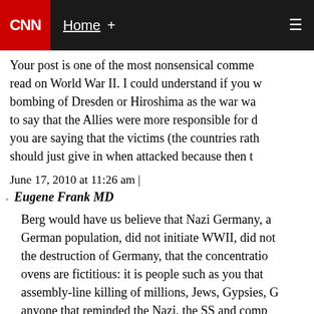CNN | Home +
Your post is one of the most nonsensical comments I read on World War II. I could understand if you were bombing of Dresden or Hiroshima as the war was to say that the Allies were more responsible for d you are saying that the victims (the countries rath should just give in when attacked because then t
June 17, 2010 at 11:26 am |
Eugene Frank MD
Berg would have us believe that Nazi Germany, a German population, did not initiate WWII, did not the destruction of Germany, that the concentratio ovens are fictitious: it is people such as you that assembly-line killing of millions, Jews, Gypsies, G anyone that reminded the Nazi, the SS and comp as well as you, are ugly, hating, jealous, envious got what you deserved: start a war without rules life and then are angry that you got what you des no longer rules to protect you.